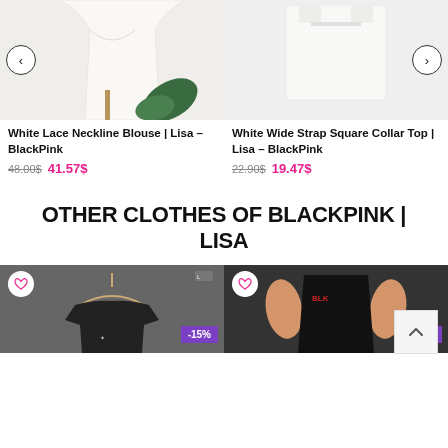[Figure (photo): White lace neckline blouse product photo with green leaf visible, left navigation arrow]
[Figure (photo): White wide strap square collar top product photo, right navigation arrow]
White Lace Neckline Blouse | Lisa – BlackPink
48.00$ 41.57$
White Wide Strap Square Collar Top | Lisa – BlackPink
22.90$ 19.47$
OTHER CLOTHES OF BLACKPINK | LISA
[Figure (photo): Black clothing item on hanger, wishlist heart icon, -15% discount badge]
[Figure (photo): Black top worn by model, wishlist heart icon, -15% discount badge]